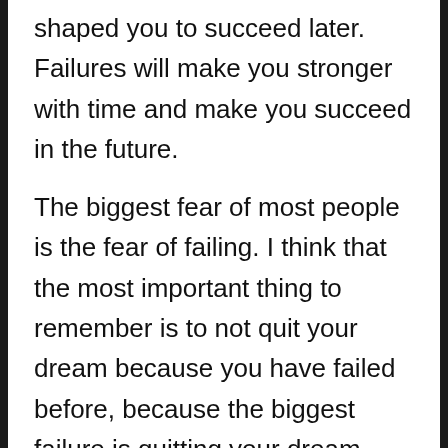shaped you to succeed later. Failures will make you stronger with time and make you succeed in the future.
The biggest fear of most people is the fear of failing. I think that the most important thing to remember is to not quit your dream because you have failed before, because the biggest failure is quitting your dream. When you have started something, you have to either finish it or quit it after trying all the possible possibilities to make it work. Sometimes you try your best and the